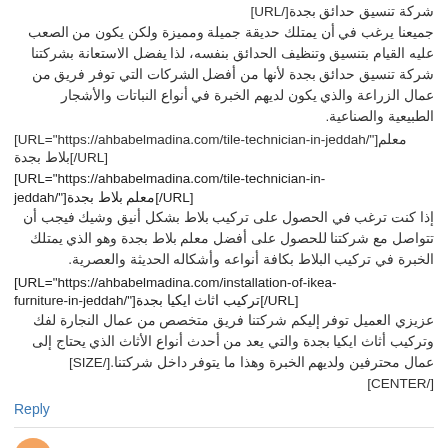شركة تنسيق حدائق بجدة[/URL] جميعنا يرغب في أن يمتلك حديقة جميلة ومميزة ولكن يكون من الصعب عليه القيام بتنسيق وتنظيف الحدائق بنفسه، لذا يفضل الاستعانة بشركتنا شركة تنسيق حدائق بجدة لأنها من أفضل الشركات التي توفر فريق من عمال الزراعة والذي يكون لديهم الخبرة في أنواع النباتات والأشجار الطبيعية والصناعية.
[URL="https://ahbabelmadina.com/tile-technician-in-jeddah/"]معلم بلاط بجدة[/URL]
إذا كنت ترغب في الحصول على تركيب بلاط بشكل أنيق وشيك فيجب أن تتواصل مع شركتنا للحصول على أفضل معلم بلاط بجدة وهو الذي يمتلك الخبرة في تركيب البلاط بكافة أنواعه وأشكاله الحديثة والعصرية.
[URL="https://ahbabelmadina.com/installation-of-ikea-furniture-in-jeddah/"]تركيب اثاث ايكيا بجدة[/URL]
عزيزي العميل توفر إليكم شركتنا فريق متخصص من عمال النجارة لفك وتركيب أثاث ايكيا بجدة والتي يعد من أحدث أنواع الأثاث الذي يحتاج إلى عمال محترفين ولديهم الخبرة وهذا ما يتوفر داخل شركتنا.[/SIZE][/CENTER]
Reply
Unknown  September 12, 2018 at 9:52 PM